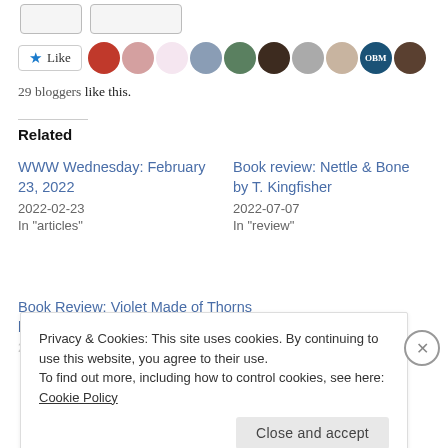[Figure (screenshot): Top partial area showing two social sharing button stubs]
[Figure (screenshot): Like button with star icon and row of 10 blogger avatar images]
29 bloggers like this.
Related
WWW Wednesday: February 23, 2022
2022-02-23
In "articles"
Book review: Nettle & Bone by T. Kingfisher
2022-07-07
In "review"
Book Review: Violet Made of Thorns by Gina Chen
Privacy & Cookies: This site uses cookies. By continuing to use this website, you agree to their use.
To find out more, including how to control cookies, see here: Cookie Policy